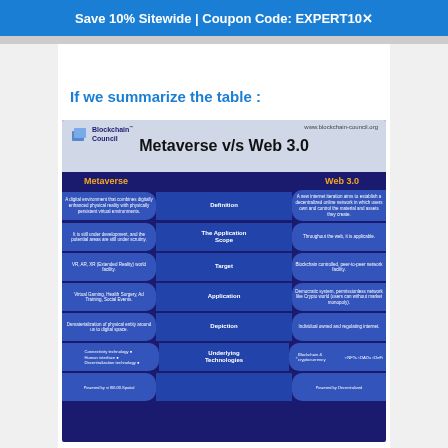Save 10% Sitewide | Coupon Code: EXPERT10
If we summarize the table :
[Figure (table-as-image): Infographic comparing Metaverse vs Web 3.0 from Blockchain Council (www.blockchain-council.org). Table rows: Definition, The Application Scope, Target, Application, Depiction, Underlying Technologies. Metaverse column in blue with yellow header. Web 3.0 column in blue with yellow header. Center column shows row labels in dark blue.]